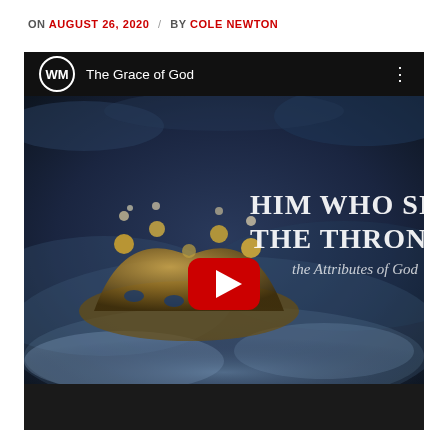ON AUGUST 26, 2020 / BY COLE NEWTON
[Figure (screenshot): YouTube video embed showing 'The Grace of God' video with a crown image on a dark blue cloudy background. Text on screen reads 'HIM WHO SITS THE THRONE' and 'the Attributes of God'. A red YouTube play button is centered. The WM channel logo appears in the top bar.]